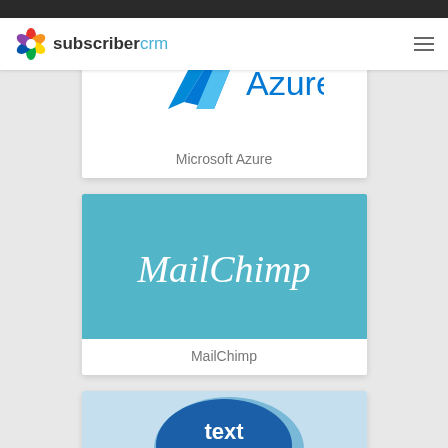subscribercrm
[Figure (logo): Microsoft Azure logo card with blue Azure logo on white background, labeled 'Microsoft Azure']
[Figure (logo): MailChimp logo card with MailChimp cursive text on teal/turquoise background, labeled 'MailChimp']
[Figure (logo): Text Local logo card with speech bubble logo on light blue background, partially visible]